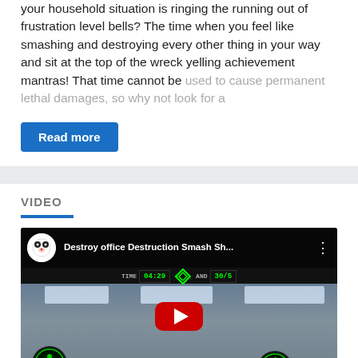your household situation is ringing the running out of frustration level bells? The time when you feel like smashing and destroying every other thing in your way and sit at the top of the wreck yelling achievement mantras! That time cannot be used to cause permanent lethal damages, so why not look for a
Read more
VIDEO
[Figure (screenshot): YouTube video thumbnail showing 'Destroy office Destruction Smash Sh...' with a panda avatar, office destruction game screenshot, YouTube play button overlay, game HUD showing TIME 04:29 and AND 30/5, green character icons and a grenade icon, blue scroll-to-top button]